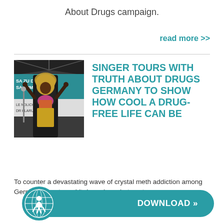About Drugs campaign.
read more >>
[Figure (photo): Singer performing at an outdoor event with German text banner reading 'SA... ZU DROG... SA... ZU LEB...' and 'LANDLICHE KLARUNG']
SINGER TOURS WITH TRUTH ABOUT DRUGS GERMANY TO SHOW HOW COOL A DRUG-FREE LIFE CAN BE
To counter a devastating wave of crystal meth addiction among Germ... Villa... team hit drug abuse hot spots